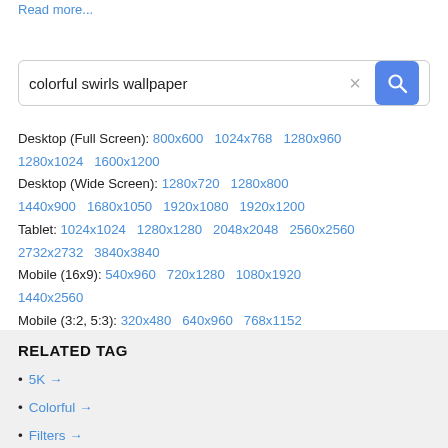Read more...
colorful swirls wallpaper
Desktop (Full Screen): 800x600  1024x768  1280x960  1280x1024  1600x1200
Desktop (Wide Screen): 1280x720  1280x800  1440x900  1680x1050  1920x1080  1920x1200
Tablet: 1024x1024  1280x1280  2048x2048  2560x2560  2732x2732  3840x3840
Mobile (16x9): 540x960  720x1280  1080x1920  1440x2560
Mobile (3:2, 5:3): 320x480  640x960  768x1152  480x800  768x1280
RELATED TAG
5K →
Colorful →
Filters →